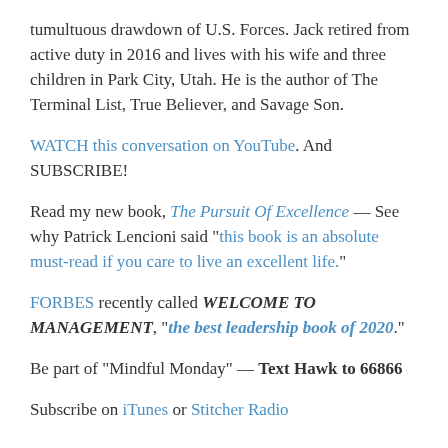tumultuous drawdown of U.S. Forces. Jack retired from active duty in 2016 and lives with his wife and three children in Park City, Utah. He is the author of The Terminal List, True Believer, and Savage Son.
WATCH this conversation on YouTube. And SUBSCRIBE!
Read my new book, The Pursuit Of Excellence — See why Patrick Lencioni said "this book is an absolute must-read if you care to live an excellent life."
FORBES recently called WELCOME TO MANAGEMENT, "the best leadership book of 2020."
Be part of "Mindful Monday" — Text Hawk to 66866
Subscribe on iTunes or Stitcher Radio